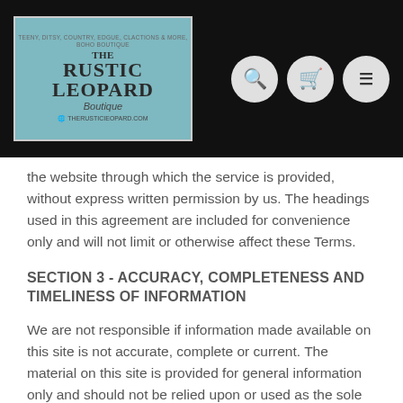[Figure (logo): The Rustic Leopard Boutique logo with teal wood background, pink car, decorative text, and website URL therusticieopard.com]
the website through which the service is provided, without express written permission by us. The headings used in this agreement are included for convenience only and will not limit or otherwise affect these Terms.
SECTION 3 - ACCURACY, COMPLETENESS AND TIMELINESS OF INFORMATION
We are not responsible if information made available on this site is not accurate, complete or current. The material on this site is provided for general information only and should not be relied upon or used as the sole basis for making decisions without consulting primary, more accurate, more complete or more timely sources of information. Any reliance on the material on this site is at your own risk.